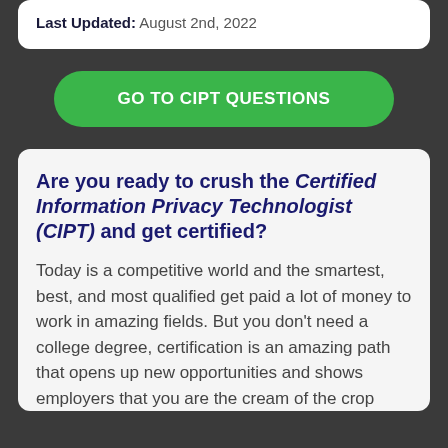Last Updated: August 2nd, 2022
[Figure (other): Green button labeled GO TO CIPT QUESTIONS]
Are you ready to crush the Certified Information Privacy Technologist (CIPT) and get certified?
Today is a competitive world and the smartest, best, and most qualified get paid a lot of money to work in amazing fields. But you don’t need a college degree, certification is an amazing path that opens up new opportunities and shows employers that you are the cream of the crop